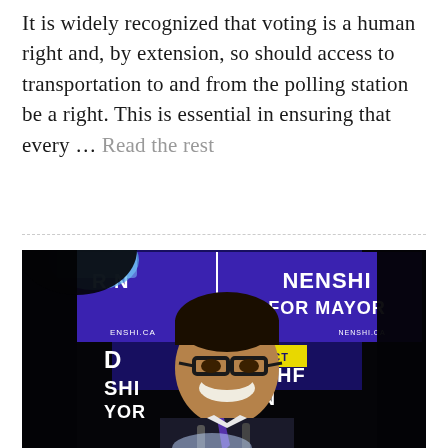It is widely recognized that voting is a human right and, by extension, so should access to transportation to and from the polling station be a right. This is essential in ensuring that every … Read the rest
[Figure (photo): A smiling man in a suit and tie speaking at a podium with microphones, in front of purple campaign signs reading 'NENSHI FOR MAYOR' and 'NENSHI.CA', with a yellow banner reading 'RE-ELECT' and partial text 'MAHF' visible.]